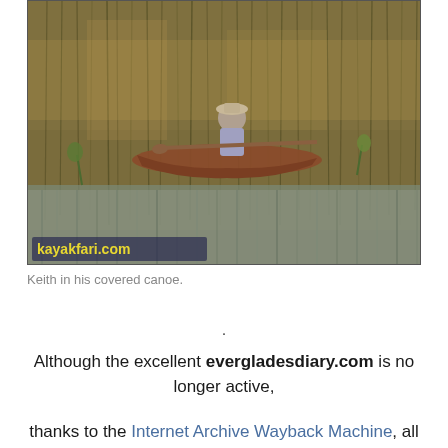[Figure (photo): A person (Keith) paddling in a covered canoe through a wetland/marsh area with tall golden-brown grasses. The water is visible in the foreground reflecting the grasses. A watermark 'kayakfari.com' appears in the lower left of the photo.]
Keith in his covered canoe.
.
Although the excellent evergladesdiary.com is no longer active,
thanks to the Internet Archive Wayback Machine, all the